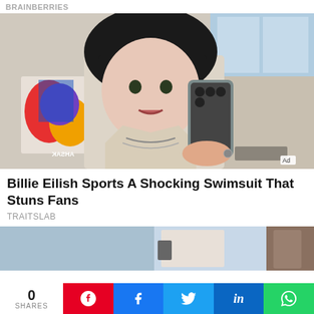BRAINBERRIES
[Figure (photo): Person taking a mirror selfie with a smartphone, wearing layered necklaces and a light jacket, with colorful art on the wall behind them. Ad badge visible in bottom right corner.]
Billie Eilish Sports A Shocking Swimsuit That Stuns Fans
TRAITSLAB
[Figure (photo): Partial view of a bright room interior, light blue tones, someone partially visible on the right side.]
0 SHARES
Pinterest share button
Facebook share button
Twitter share button
LinkedIn share button
WhatsApp share button